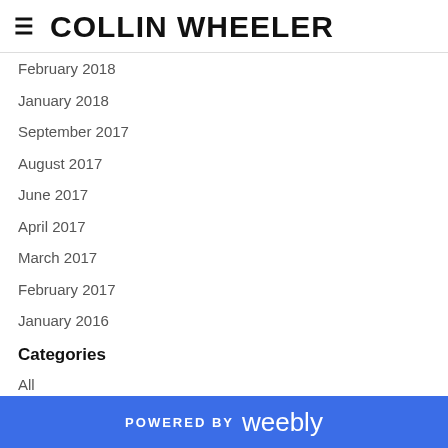COLLIN WHEELER
February 2018
January 2018
September 2017
August 2017
June 2017
April 2017
March 2017
February 2017
January 2016
Categories
All
Unsponsored Content
RSS Feed
POWERED BY weebly